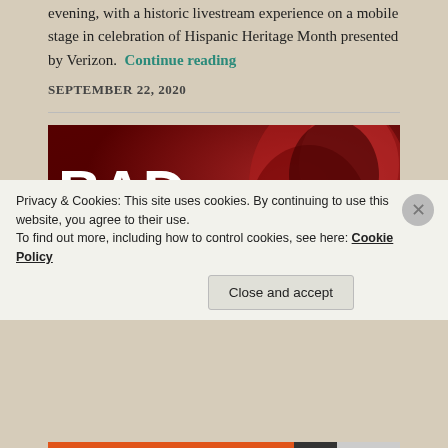evening, with a historic livestream experience on a mobile stage in celebration of Hispanic Heritage Month presented by Verizon. Continue reading
SEPTEMBER 22, 2020
[Figure (photo): Red-lit concert photo with large white bold text reading BAD BUNNY overlaid]
Privacy & Cookies: This site uses cookies. By continuing to use this website, you agree to their use. To find out more, including how to control cookies, see here: Cookie Policy
Close and accept